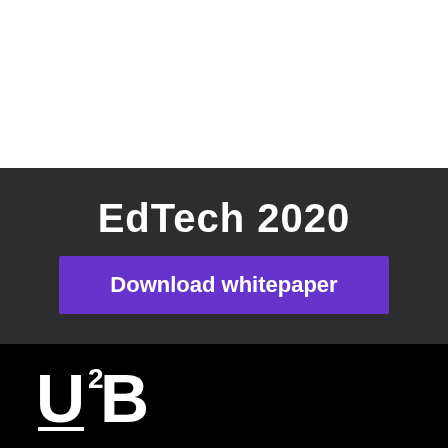EdTech 2020
Download whitepaper
[Figure (logo): U2B logo in white text on black background, with superscript 2 and underline beneath the U]